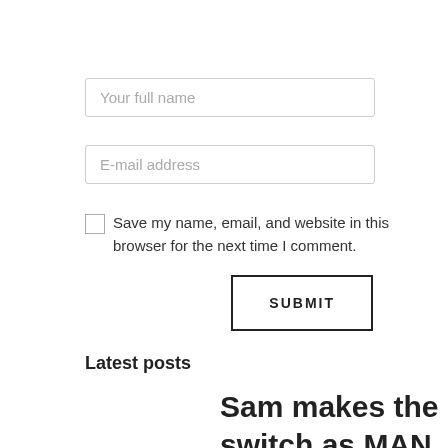Your full name
E-mail address
Save my name, email, and website in this browser for the next time I comment.
SUBMIT
Latest posts
Sam makes the switch as MAN v